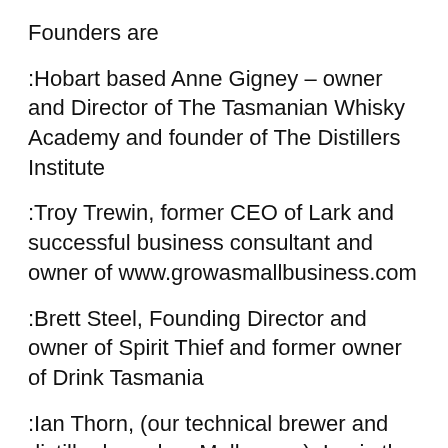Founders are
:Hobart based Anne Gigney – owner and Director of The Tasmanian Whisky Academy and founder of The Distillers Institute
:Troy Trewin, former CEO of Lark and successful business consultant and owner of www.growasmallbusiness.com
:Brett Steel, Founding Director and owner of Spirit Thief and former owner of Drink Tasmania
:Ian Thorn, (our technical brewer and distiller based on Melbourne). Ian is the Asia Pacific tutor for the Institute of Brewing and Distilling, with roles as microbiologist, distiller, distiller